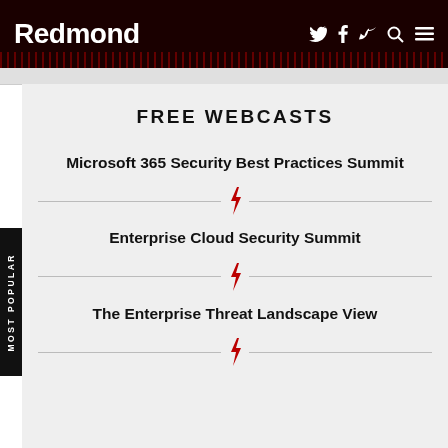Redmond
FREE WEBCASTS
Microsoft 365 Security Best Practices Summit
Enterprise Cloud Security Summit
The Enterprise Threat Landscape View